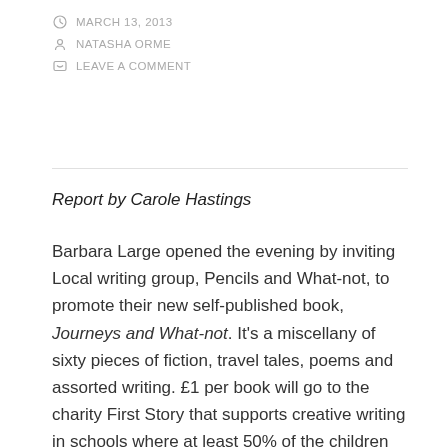MARCH 13, 2013
NATASHA ORME
LEAVE A COMMENT
Report by Carole Hastings
Barbara Large opened the evening by inviting Local writing group, Pencils and What-not, to promote their new self-published book, Journeys and What-not. It’s a miscellany of sixty pieces of fiction, travel tales, poems and assorted writing. £1 per book will go to the charity First Story that supports creative writing in schools where at least 50% of the children are deprived. The book is available from P & G Wells in Winchester, The Winchester Discovery Centre and from their website.